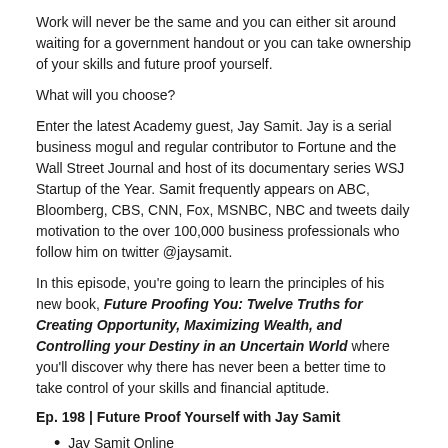Work will never be the same and you can either sit around waiting for a government handout or you can take ownership of your skills and future proof yourself.
What will you choose?
Enter the latest Academy guest, Jay Samit. Jay is a serial business mogul and regular contributor to Fortune and the Wall Street Journal and host of its documentary series WSJ Startup of the Year. Samit frequently appears on ABC, Bloomberg, CBS, CNN, Fox, MSNBC, NBC and tweets daily motivation to the over 100,000 business professionals who follow him on twitter @jaysamit.
In this episode, you're going to learn the principles of his new book, Future Proofing You: Twelve Truths for Creating Opportunity, Maximizing Wealth, and Controlling your Destiny in an Uncertain World where you'll discover why there has never been a better time to take control of your skills and financial aptitude.
Ep. 198 | Future Proof Yourself with Jay Samit
Jay Samit Online
Jay Samit Future Proof Yourself
MASTERCLASS: MAKE 2020 THE YEAR EVERYTHING CHANGED
This is why I created a special Masterclass Experience —Make 2020 The Year